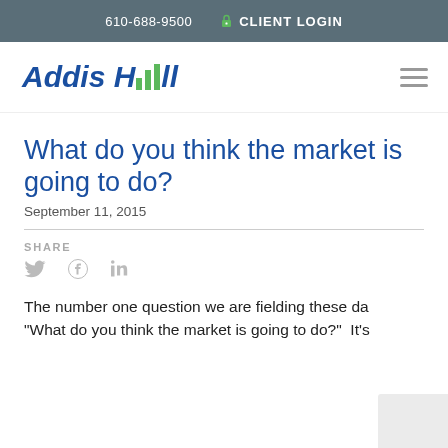610-688-9500   CLIENT LOGIN
[Figure (logo): Addis Hill financial firm logo with blue text and green bar chart icon]
What do you think the market is going to do?
September 11, 2015
SHARE
The number one question we are fielding these da "What do you think the market is going to do?"  It's